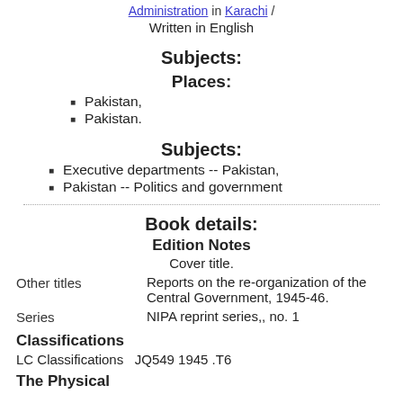Administration in Karachi
Written in English
Subjects:
Places:
Pakistan,
Pakistan.
Subjects:
Executive departments -- Pakistan,
Pakistan -- Politics and government
Book details:
Edition Notes
Cover title.
Other titles   Reports on the re-organization of the Central Government, 1945-46.
Series   NIPA reprint series,, no. 1
Classifications
LC Classifications JQ549 1945 .T6
The Physical